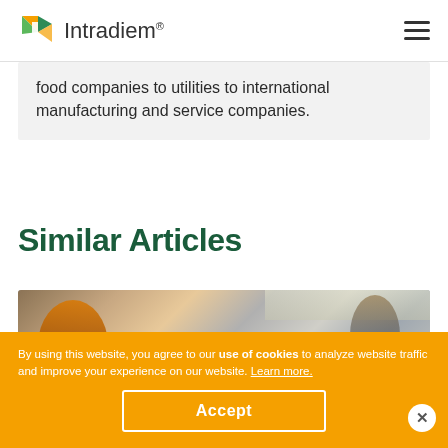Intradiem® [logo + hamburger menu]
food companies to utilities to international manufacturing and service companies.
Similar Articles
[Figure (photo): Call center workers at desks with headsets, woman with red/orange hair in foreground]
By using this website, you agree to our use of cookies to analyze website traffic and improve your experience on our website. Learn more.
Accept